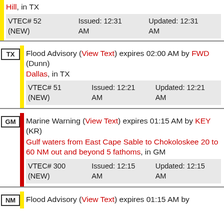Hill, in TX
VTEC# 52 (NEW) Issued: 12:31 AM Updated: 12:31 AM
TX Flood Advisory (View Text) expires 02:00 AM by FWD (Dunn)
Dallas, in TX
VTEC# 51 (NEW) Issued: 12:21 AM Updated: 12:21 AM
GM Marine Warning (View Text) expires 01:15 AM by KEY (KR)
Gulf waters from East Cape Sable to Chokoloskee 20 to 60 NM out and beyond 5 fathoms, in GM
VTEC# 300 (NEW) Issued: 12:15 AM Updated: 12:15 AM
NM Flood Advisory (View Text) expires 01:15 AM by